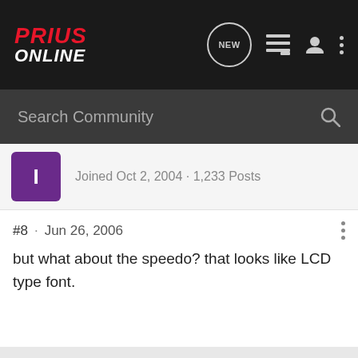Prius Online
Joined Oct 2, 2004 · 1,233 Posts
#8 · Jun 26, 2006
but what about the speedo? that looks like LCD type font.
2005 Tideland Pkg B
VVT-i Emblem, All-Weather Mats, Cargo Mat, Sport Pedals, EV